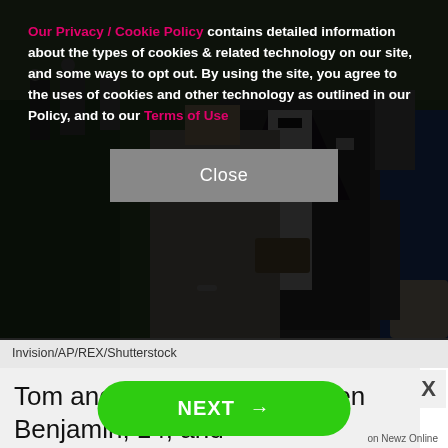Our Privacy / Cookie Policy contains detailed information about the types of cookies & related technology on our site, and some ways to opt out. By using the site, you agree to the uses of cookies and other technology as outlined in our Policy, and to our Terms of Use
[Figure (photo): A couple at a formal event. A woman in a grey/silver long-sleeve fitted dress holds a clutch purse, and a man in a dark tuxedo with white shirt stands beside her. Blue carpet/stairs visible in background along with photographers.]
Invision/AP/REX/Shutterstock
Tom and Gisele share children Benjamin, 14, and